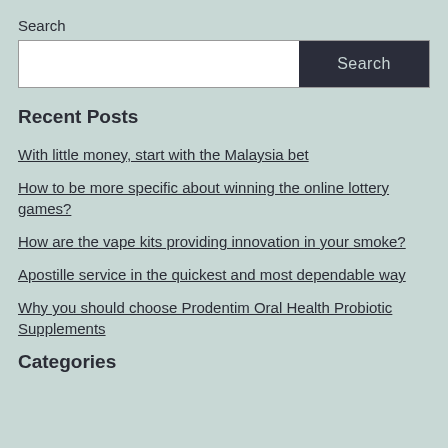Search
Search (input box with button)
Recent Posts
With little money, start with the Malaysia bet
How to be more specific about winning the online lottery games?
How are the vape kits providing innovation in your smoke?
Apostille service in the quickest and most dependable way
Why you should choose Prodentim Oral Health Probiotic Supplements
Categories